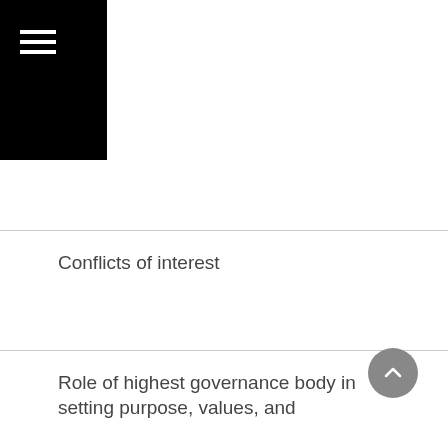☰
Conflicts of interest
Role of highest governance body in setting purpose, values, and
Collective knowledge of highest governance body